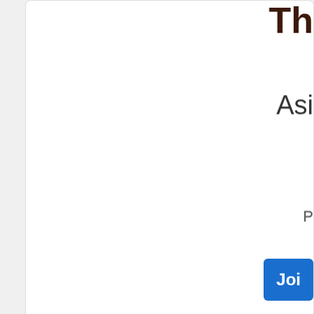Th
Asi
P
Joi
[Figure (illustration): Illustrated female figure in pink outfit with pink circular logo element]
Breakt